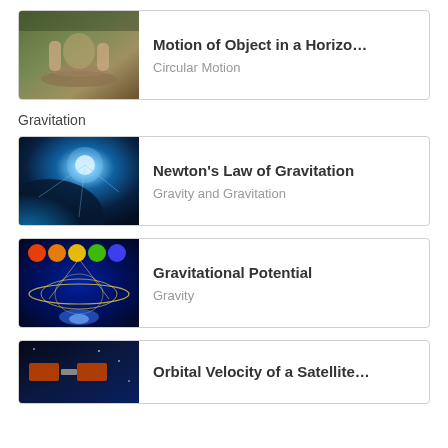[Figure (photo): Hands shaping clay on a pottery wheel]
Motion of Object in a Horizo…
Circular Motion
Gravitation
[Figure (photo): Space scene with planet Earth and bright light]
Newton's Law of Gravitation
Gravity and Gravitation
[Figure (photo): Colorful spheres and gravitational field visualization]
Gravitational Potential
Gravity
[Figure (photo): Satellite in space scene]
Orbital Velocity of a Satellite…